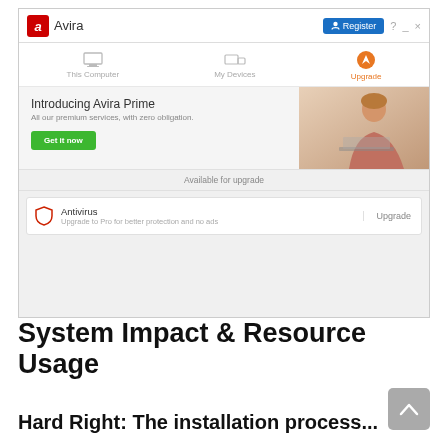[Figure (screenshot): Avira antivirus application window showing title bar with Register button, navigation tabs (This Computer, My Devices, Upgrade), promotional banner for Avira Prime with 'Get it now' button, and an Antivirus upgrade row.]
System Impact & Resource Usage
Hard Right: The installation process...